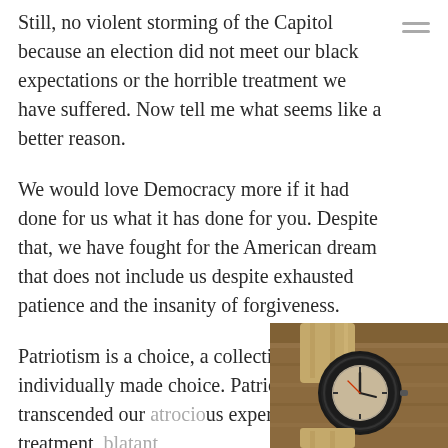Still, no violent storming of the Capitol because an election did not meet our black expectations or the horrible treatment we have suffered. Now tell me what seems like a better reason.
We would love Democracy more if it had done for us what it has done for you. Despite that, we have fought for the American dream that does not include us despite exhausted patience and the insanity of forgiveness.
Patriotism is a choice, a collective albeit an individually made choice. Patriotism has transcended our atrocious experiences, harsh treatment, blatant
[Figure (photo): Photo of a vintage military-style wristwatch with a dark bezel and canvas/NATO strap on a brown wooden surface, positioned in the bottom-right corner of the page.]